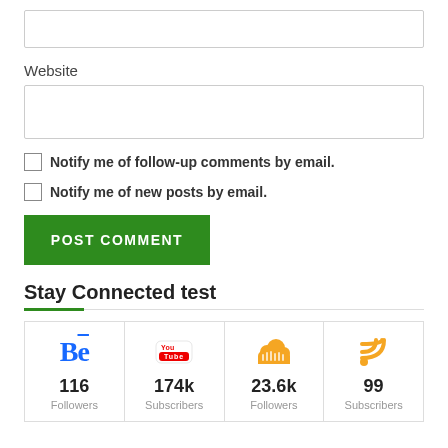[Figure (screenshot): Empty text input field (top of page, partially visible)]
Website
[Figure (screenshot): Website URL input field]
Notify me of follow-up comments by email.
Notify me of new posts by email.
[Figure (screenshot): POST COMMENT button (green)]
Stay Connected test
| Behance | YouTube | SoundCloud | RSS |
| --- | --- | --- | --- |
| 116
Followers | 174k
Subscribers | 23.6k
Followers | 99
Subscribers |